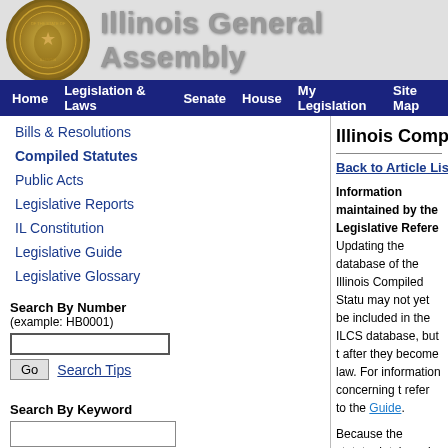Illinois General Assembly
Home | Legislation & Laws | Senate | House | My Legislation | Site Map
Bills & Resolutions
Compiled Statutes
Public Acts
Legislative Reports
IL Constitution
Legislative Guide
Legislative Glossary
Search By Number (example: HB0001)
Search By Keyword
Illinois Compiled Statutes
Back to Article Listing   Public Acts   Search   Gui
Information maintained by the Legislative Refere Updating the database of the Illinois Compiled Statu may not yet be included in the ILCS database, but t after they become law. For information concerning t refer to the Guide.
Because the statute database is maintained primari changes are sometimes included in the statute data the end of a Section of the statutes includes a Publi the law that is currently in effect may have already b refer to that Public Act to see the changes made to t
0
(35 ILCS 200/Art. 16 Div. 2 h Division 2. Pr